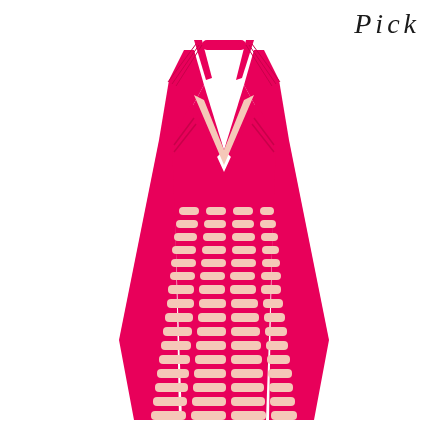Pick
[Figure (photo): A bright hot-pink halter-neck garment top with a cut-out mesh/laser-cut pattern featuring oval/rectangular perforations arranged in horizontal rows across the body, with a deep V-neckline and halter strap, shown on a white background.]